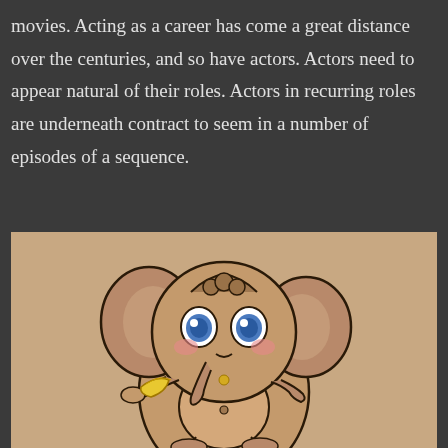movies. Acting as a career has come a great distance over the centuries, and so have actors. Actors need to appear natural of their roles. Actors in recurring roles are underneath contract to seem in a number of episodes of a sequence.
[Figure (photo): A photo of a tattoo on skin depicting a cute cartoon baby elephant (Ganesha-like) with big blue eyes, rosy cheeks, holding a banana, with a round belly and multiple arms/legs, rendered in brown, tan, and yellow tones with black outlines.]